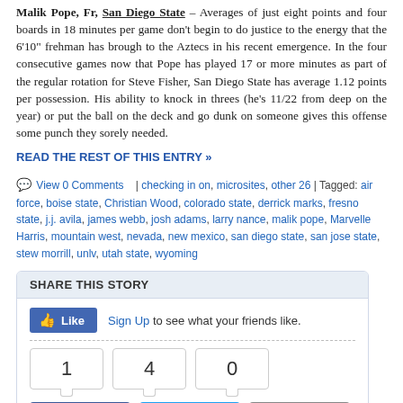Malik Pope, Fr, San Diego State – Averages of just eight points and four boards in 18 minutes per game don't begin to do justice to the energy that the 6'10" frehman has brough to the Aztecs in his recent emergence. In the four consecutive games now that Pope has played 17 or more minutes as part of the regular rotation for Steve Fisher, San Diego State has average 1.12 points per possession. His ability to knock in threes (he's 11/22 from deep on the year) or put the ball on the deck and go dunk on someone gives this offense some punch they sorely needed.
READ THE REST OF THIS ENTRY »
View 0 Comments | checking in on, microsites, other 26 | Tagged: air force, boise state, Christian Wood, colorado state, derrick marks, fresno state, j.j. avila, james webb, josh adams, larry nance, malik pope, Marvelle Harris, mountain west, nevada, new mexico, san diego state, san jose state, stew morrill, unlv, utah state, wyoming
SHARE THIS STORY
Like Sign Up to see what your friends like.
1  4  0
Share  Tweet  Email